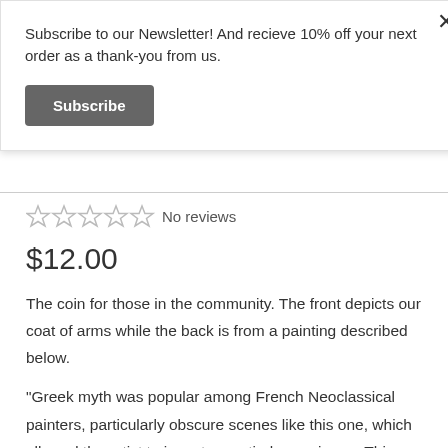Subscribe to our Newsletter! And recieve 10% off your next order as a thank-you from us.
Subscribe
No reviews
$12.00
The coin for those in the community. The front depicts our coat of arms while the back is from a painting described below.
"Greek myth was popular among French Neoclassical painters, particularly obscure scenes like this one, which allowed the artist to invent an entirely new image This drawing